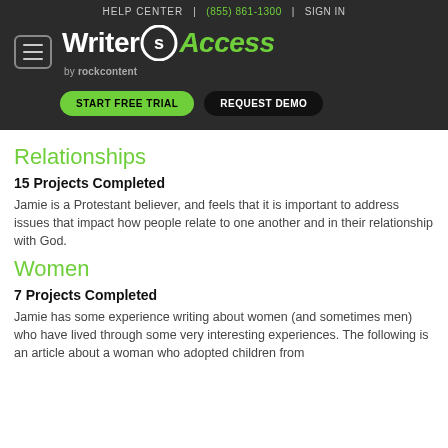HELP CENTER | (855) 861-1300 | SIGN IN
[Figure (logo): WriterAccess by rockcontent logo with hamburger menu, START FREE TRIAL and REQUEST DEMO buttons]
Relationships
15 Projects Completed
Jamie is a Protestant believer, and feels that it is important to address issues that impact how people relate to one another and in their relationship with God.
Women
7 Projects Completed
Jamie has some experience writing about women (and sometimes men) who have lived through some very interesting experiences. The following is an article about a woman who adopted children from